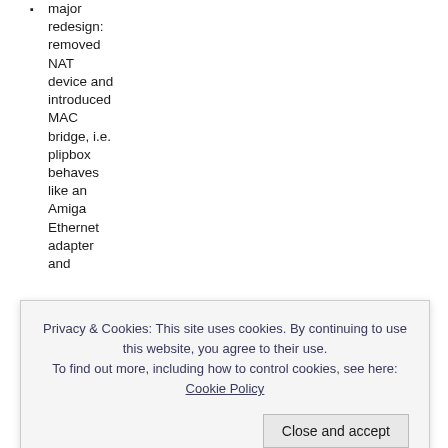major redesign: removed NAT device and introduced MAC bridge, i.e. plipbox behaves like an Amiga Ethernet adapter and
Privacy & Cookies: This site uses cookies. By continuing to use this website, you agree to their use. To find out more, including how to control cookies, see here: Cookie Policy
network
code found